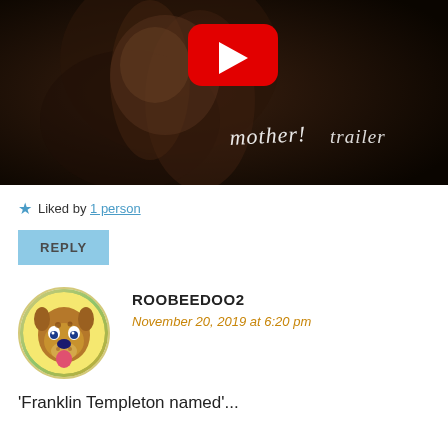[Figure (screenshot): YouTube video thumbnail for 'mother! trailer' showing a woman's face in dark lighting with the YouTube play button icon overlay and cursive text reading 'mother! trailer']
★ Liked by 1 person
REPLY
[Figure (illustration): Circular avatar of Scooby-Doo cartoon character with colorful border]
ROOBEEDOO2
November 20, 2019 at 6:20 pm
'Franklin Templeton named'...